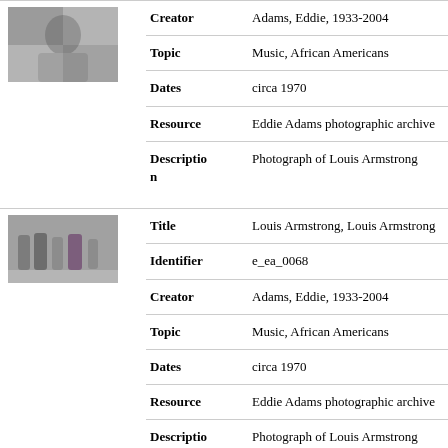[Figure (photo): Black and white thumbnail photo, top-left corner, partially visible portrait]
| Creator | Adams, Eddie, 1933-2004 |
| Topic | Music, African Americans |
| Dates | circa 1970 |
| Resource | Eddie Adams photographic archive |
| Description | Photograph of Louis Armstrong |
[Figure (photo): Black and white thumbnail photo showing people walking, group scene]
| Title | Louis Armstrong, Louis Armstrong |
| Identifier | e_ea_0068 |
| Creator | Adams, Eddie, 1933-2004 |
| Topic | Music, African Americans |
| Dates | circa 1970 |
| Resource | Eddie Adams photographic archive |
| Description | Photograph of Louis Armstrong walking his dog accompanied by |